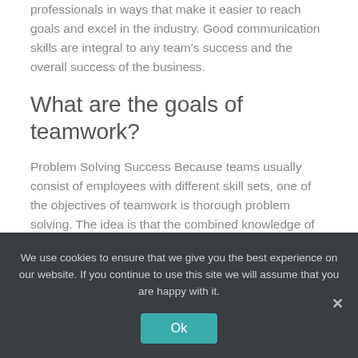professionals in ways that make it easier to reach goals and excel in the industry. Good communication skills are integral to any team's success and the overall success of the business.
What are the goals of teamwork?
Problem Solving Success Because teams usually consist of employees with different skill sets, one of the objectives of teamwork is thorough problem solving. The idea is that the combined knowledge of the team will result in more efficient problem solving.
What is communication skills for
We use cookies to ensure that we give you the best experience on our website. If you continue to use this site we will assume that you are happy with it.